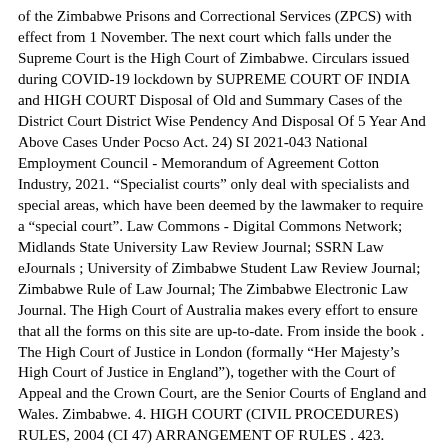of the Zimbabwe Prisons and Correctional Services (ZPCS) with effect from 1 November. The next court which falls under the Supreme Court is the High Court of Zimbabwe. Circulars issued during COVID-19 lockdown by SUPREME COURT OF INDIA and HIGH COURT Disposal of Old and Summary Cases of the District Court District Wise Pendency And Disposal Of 5 Year And Above Cases Under Pocso Act. 24) SI 2021-043 National Employment Council - Memorandum of Agreement Cotton Industry, 2021. "Specialist courts" only deal with specialists and special areas, which have been deemed by the lawmaker to require a "special court". Law Commons - Digital Commons Network; Midlands State University Law Review Journal; SSRN Law eJournals ; University of Zimbabwe Student Law Review Journal; Zimbabwe Rule of Law Journal; The Zimbabwe Electronic Law Journal. The High Court of Australia makes every effort to ensure that all the forms on this site are up-to-date. From inside the book . The High Court of Justice in London (formally "Her Majesty's High Court of Justice in England"), together with the Court of Appeal and the Crown Court, are the Senior Courts of England and Wales. Zimbabwe. 4. HIGH COURT (CIVIL PROCEDURES) RULES, 2004 (CI 47) ARRANGEMENT OF RULES . 423. Format; BibTeX: View Download: MARC: View Download: MARCXML: View Download: DublinCore: View Download: EndNote: View Download: NLM: View Download: RefWorks: View Download: RIS: View Download: Add to List . Notices and Notices from Panels of Experts of Proceedings before Panels of the...